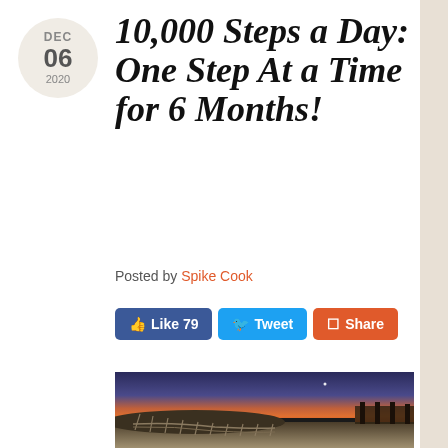10,000 Steps a Day: One Step At a Time for 6 Months!
Posted by Spike Cook
[Figure (screenshot): Social media buttons: Like 79 (Facebook), Tweet (Twitter), Share (red/orange)]
[Figure (photo): Beach sunset photo showing sand dunes with wooden fence in foreground, orange and purple twilight sky, boardwalk structure visible in background right]